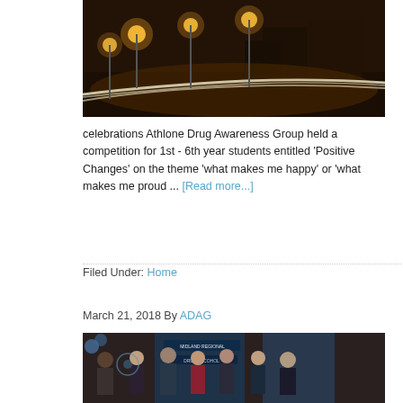[Figure (photo): Night-time street photo with light trails from cars and illuminated buildings and lampposts in Athlone]
celebrations Athlone Drug Awareness Group held a competition for 1st - 6th year students entitled 'Positive Changes' on the theme 'what makes me happy' or 'what makes me proud ... [Read more...]
Filed Under: Home
March 21, 2018 By ADAG
[Figure (photo): Group photo of people standing in front of Midland Regional Drug and Alcohol Task Force banners at an indoor event]